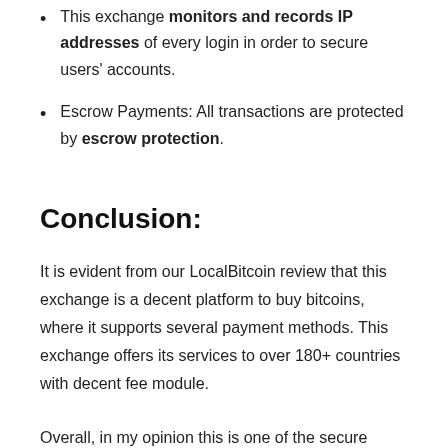This exchange monitors and records IP addresses of every login in order to secure users' accounts.
Escrow Payments: All transactions are protected by escrow protection.
Conclusion:
It is evident from our LocalBitcoin review that this exchange is a decent platform to buy bitcoins, where it supports several payment methods. This exchange offers its services to over 180+ countries with decent fee module.
Overall, in my opinion this is one of the secure exchange available, and is best suited for beginners as well as